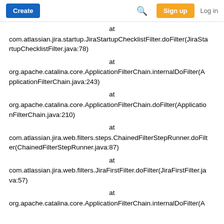Create  [search icon]  Sign up  Log in
at
com.atlassian.jira.startup.JiraStartupChecklistFilter.doFilter(JiraStartupChecklistFilter.java:78)
at
org.apache.catalina.core.ApplicationFilterChain.internalDoFilter(ApplicationFilterChain.java:243)
at
org.apache.catalina.core.ApplicationFilterChain.doFilter(ApplicationFilterChain.java:210)
at
com.atlassian.jira.web.filters.steps.ChainedFilterStepRunner.doFilter(ChainedFilterStepRunner.java:87)
at
com.atlassian.jira.web.filters.JiraFirstFilter.doFilter(JiraFirstFilter.java:57)
at
org.apache.catalina.core.ApplicationFilterChain.internalDoFilter(A